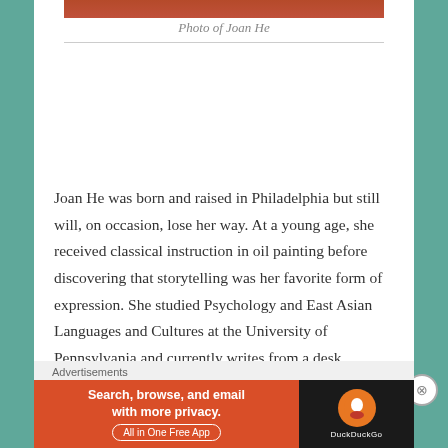[Figure (photo): Top portion of a photo of Joan He, cropped, showing reddish tones at top of image]
Photo of Joan He
Joan He was born and raised in Philadelphia but still will, on occasion, lose her way. At a young age, she received classical instruction in oil painting before discovering that storytelling was her favorite form of expression. She studied Psychology and East Asian Languages and Cultures at the University of Pennsylvania and currently writes from a desk overlooking the Delaware River. Descendant of the Crane is her debut young adult fantasy.
Advertisements
[Figure (screenshot): DuckDuckGo advertisement banner: orange left side reads 'Search, browse, and email with more privacy. All in One Free App'; black right side shows DuckDuckGo logo and name]